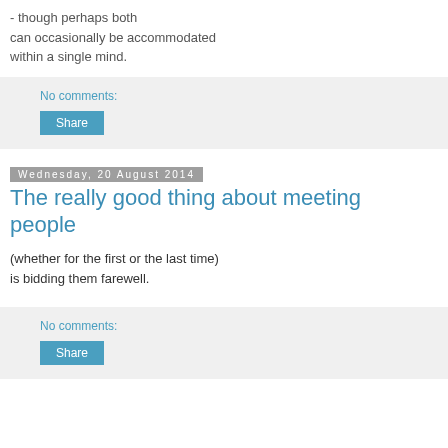- though perhaps both can occasionally be accommodated within a single mind.
No comments:
Share
Wednesday, 20 August 2014
The really good thing about meeting people
(whether for the first or the last time) is bidding them farewell.
No comments:
Share